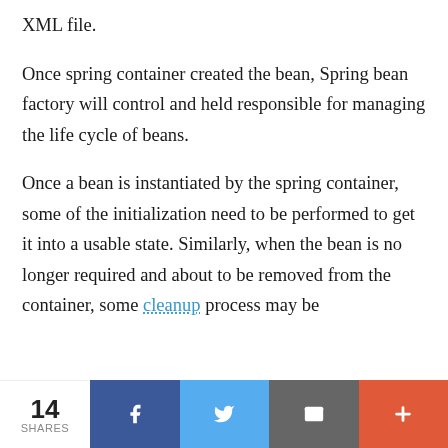XML file.
Once spring container created the bean, Spring bean factory will control and held responsible for managing the life cycle of beans.
Once a bean is instantiated by the spring container, some of the initialization need to be performed to get it into a usable state. Similarly, when the bean is no longer required and about to be removed from the container, some cleanup process may be
14 SHARES | Facebook | Twitter | Email | More